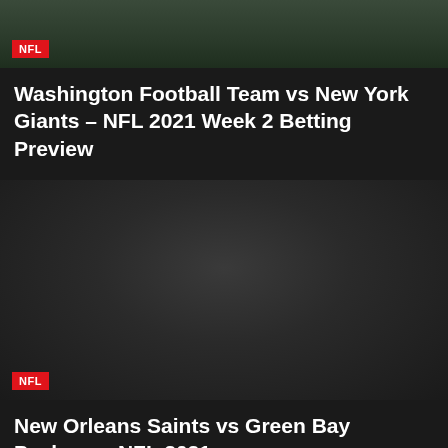[Figure (photo): Dark green football field image with NFL badge overlay at bottom left]
Washington Football Team vs New York Giants – NFL 2021 Week 2 Betting Preview
[Figure (photo): Dark/black image placeholder with NFL badge overlay at bottom left]
New Orleans Saints vs Green Bay Packers – NFL 2021